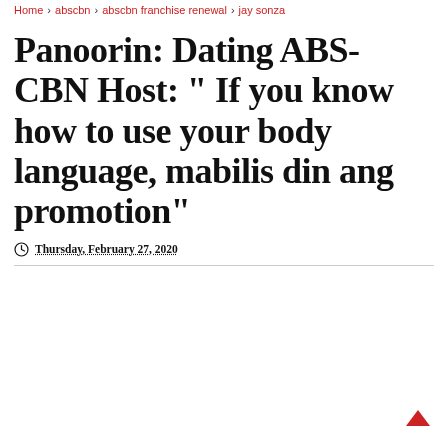Home > abscbn > abscbn franchise renewal > jay sonza
Panoorin: Dating ABS-CBN Host: " If you know how to use your body language, mabilis din ang promotion"
Thursday, February 27, 2020